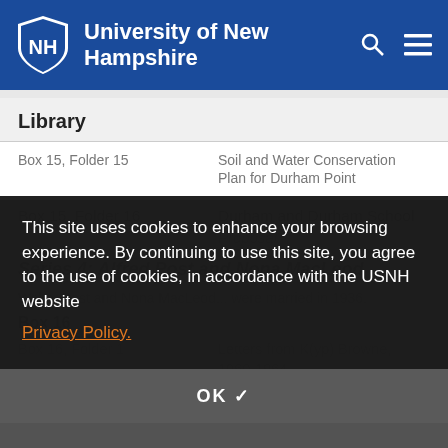University of New Hampshire
Library
|  |  |
| --- | --- |
| Box 15, Folder 15 | Soil and Water Conservation Plan for Durham Point |
| Box 15, Folder 16 | Durham and Durham School Proposal |
Series 4: Alfred Post and Nona MacLeod
Walter Post and Nona MacLeod ... were married in 1936.
Box 16
|  |  |
| --- | --- |
| Box 16, Folder 1 | Letters from K(yp) Browne, 1960-1964 |
This site uses cookies to enhance your browsing experience. By continuing to use this site, you agree to the use of cookies, in accordance with the USNH website
Privacy Policy.
OK ✓